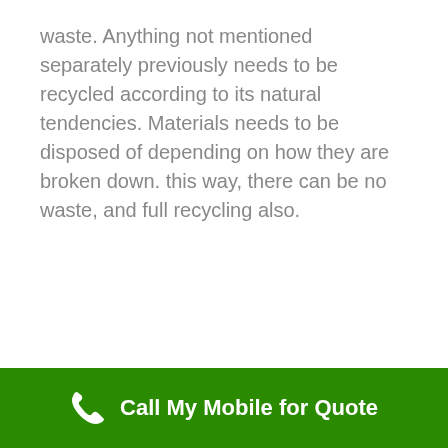waste. Anything not mentioned separately previously needs to be recycled according to its natural tendencies. Materials needs to be disposed of depending on how they are broken down. this way, there can be no waste, and full recycling also.
Call My Mobile for Quote